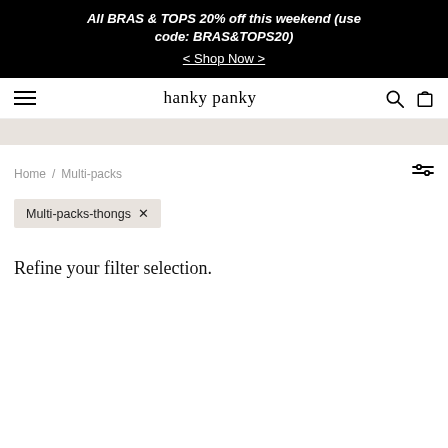All BRAS & TOPS 20% off this weekend (use code: BRAS&TOPS20) < Shop Now >
hanky panky
Home / Multi-packs
Multi-packs-thongs ×
Refine your filter selection.